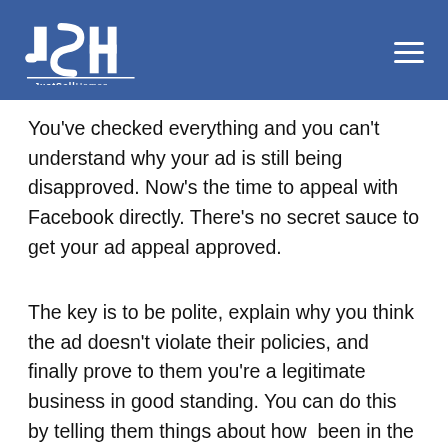JustSellHomes
You’ve checked everything and you can’t understand why your ad is still being disapproved. Now’s the time to appeal with Facebook directly. There’s no secret sauce to get your ad appeal approved.
The key is to be polite, explain why you think the ad doesn’t violate their policies, and finally prove to them you’re a legitimate business in good standing. You can do this by telling them things about how long you’ve been in the business and link to your webs…
[Figure (other): A circular play widget in the bottom-right corner, showing a man with a blue background and the text PLAY ME, with a close button at the top right. The widget has a blue circular border.]